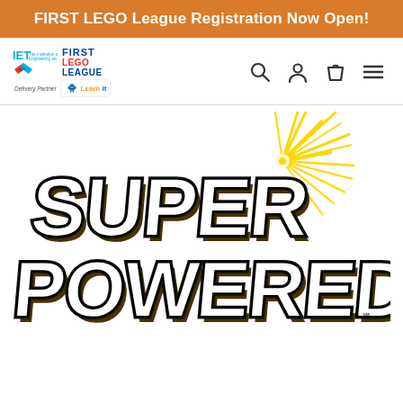FIRST LEGO League Registration Now Open!
[Figure (logo): IET FIRST LEGO League logo with LearnIt delivery partner branding]
[Figure (logo): Navigation icons: search, user/account, shopping bag/cart, hamburger menu]
[Figure (logo): SUPER POWERED logo - large 3D bold comic-style text in gold and white with black outlines, sunburst graphic, service mark symbol]